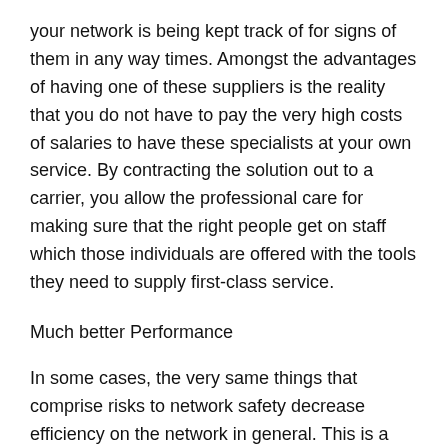your network is being kept track of for signs of them in any way times. Amongst the advantages of having one of these suppliers is the reality that you do not have to pay the very high costs of salaries to have these specialists at your own service. By contracting the solution out to a carrier, you allow the professional care for making sure that the right people get on staff which those individuals are offered with the tools they need to supply first-class service.
Much better Performance
In some cases, the very same things that comprise risks to network safety decrease efficiency on the network in general. This is a good reason to consider having actually a handled protection services provider collaborate with your organization. In making sure that